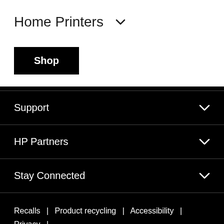Home Printers ˅
Shop
Support
HP Partners
Stay Connected
Recalls | Product recycling | Accessibility | Privacy | Use of cookies | Terms of use
© Copyright 2022 HP Development Company, L.P.